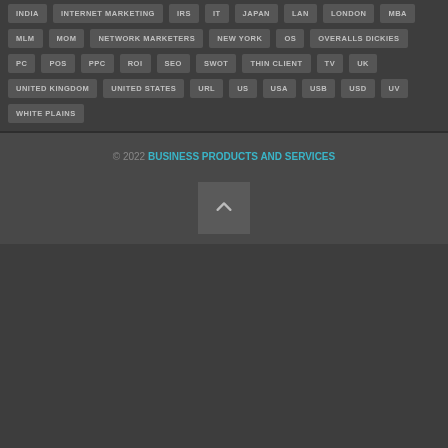INDIA
INTERNET MARKETING
IRS
IT
JAPAN
LAN
LONDON
MBA
MLM
MOM
NETWORK MARKETERS
NEW YORK
OS
OVERALLS DICKIES
PC
POS
PPC
ROI
SEO
SWOT
THIN CLIENT
TV
UK
UNITED KINGDOM
UNITED STATES
URL
US
USA
USB
USD
UV
WHITE PLAINS
© 2022 BUSINESS PRODUCTS AND SERVICES